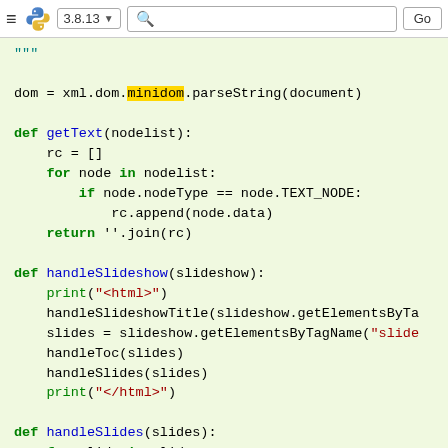Python 3.8.13 documentation navigation bar
[Figure (screenshot): Python documentation navigation bar with hamburger menu, Python logo, version selector showing 3.8.13, search box, and Go button]